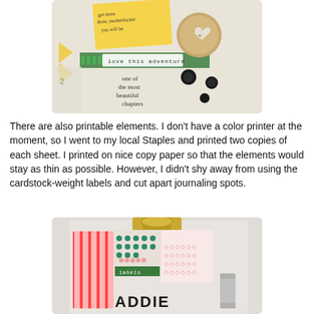[Figure (photo): Close-up photo of a scrapbook/journal page with decorative elements: a yellow sticky note with handwriting, a green striped label reading 'love this adventure', a wooden heart button, black brad/button embellishments, and handwritten cursive text reading 'one of the most beautiful chapters']
There are also printable elements. I don't have a color printer at the moment, so I went to my local Staples and printed two copies of each sheet. I printed on nice copy paper so that the elements would stay as thin as possible. However, I didn't shy away from using the cardstock-weight labels and cut apart journaling spots.
[Figure (photo): Close-up photo of a scrapbook project on a clipboard with gold clip, featuring red/white striped washi tape, pink and green patterned papers, teal polka dot elements, and the name 'ADDIE' in large black letters]